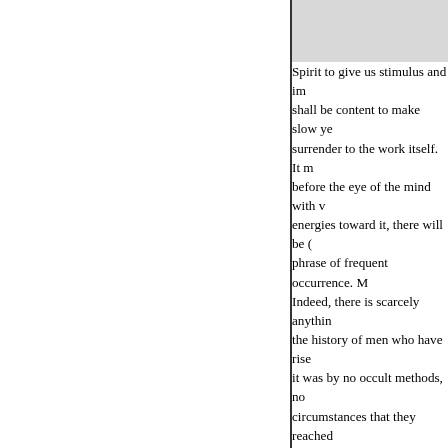Spirit to give us stimulus and im shall be content to make slow ye surrender to the work itself. It m before the eye of the mind with v energies toward it, there will be ( phrase of frequent occurrence. M Indeed, there is scarcely anythin the history of men who have rise it was by no occult methods, no circumstances that they reached made them, by the vigour of thei they have won an immortal nam the agony of battle and to the str prize in the arena.
2. It suggests the importance o mistakes in the objects to which There are pursuits which men fo them, appear as a species of misc truth behind." Our present life is Our minds are constantly affecte and by the influences of this